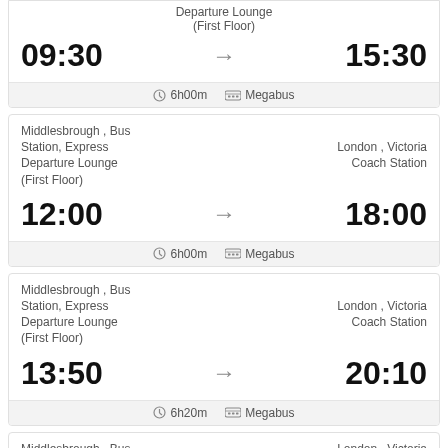Departure Lounge (First Floor)
09:30 → 15:30
6h00m  Megabus
Middlesbrough , Bus Station, Express Departure Lounge (First Floor)
London , Victoria Coach Station
12:00 → 18:00
6h00m  Megabus
Middlesbrough , Bus Station, Express Departure Lounge (First Floor)
London , Victoria Coach Station
13:50 → 20:10
6h20m  Megabus
Middlesbrough , Bus Station
London , Victoria